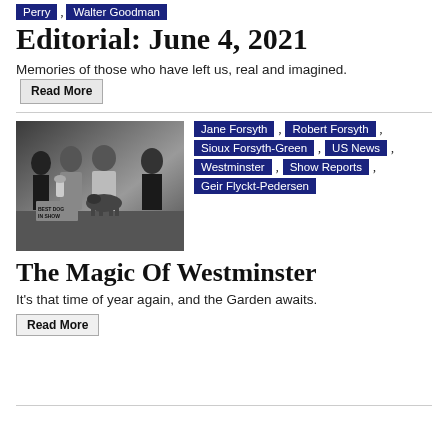Perry , Walter Goodman
Editorial: June 4, 2021
Memories of those who have left us, real and imagined.
Read More
[Figure (photo): Black and white photo of a dog show group — two men and two women posing with a dog, trophy visible, sign reads 'Best Dog In Show']
Jane Forsyth , Robert Forsyth , Sioux Forsyth-Green , US News , Westminster , Show Reports , Geir Flyckt-Pedersen
The Magic Of Westminster
It's that time of year again, and the Garden awaits.
Read More